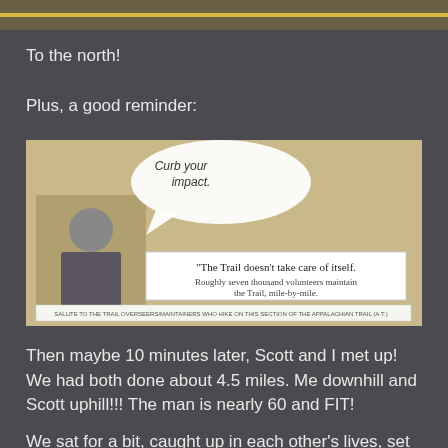[Figure (photo): Partial top image, cropped, showing a yellow line on a dark surface]
To the north!
Plus, a good reminder:
[Figure (photo): Photo of a bulletin board display showing a man with a speech bubble reading 'Curb your impact.' and a banner reading 'The Trail doesn't take care of itself. Roughly seven thousand volunteers maintain the Trail, mile-by-mile.']
Then maybe 10 minutes later, Scott and I met up! We had both done about 4.5 miles. Me downhill and Scott uphill!!! The man is nearly 60 and FIT!
We sat for a bit, caught up in each other's lives, set out.